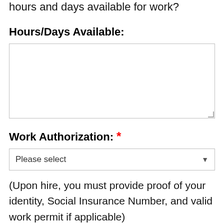hours and days available for work?
Hours/Days Available:
Work Authorization: *
Please select
(Upon hire, you must provide proof of your identity, Social Insurance Number, and valid work permit if applicable)